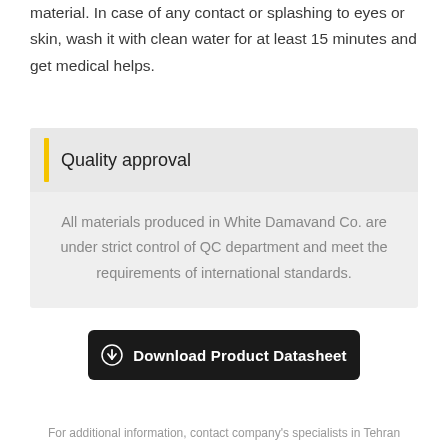material. In case of any contact or splashing to eyes or skin, wash it with clean water for at least 15 minutes and get medical helps.
Quality approval
All materials produced in White Damavand Co. are under strict control of QC department and meet the requirements of international standards.
Download Product Datasheet
For additional information, contact company's specialists in Tehran